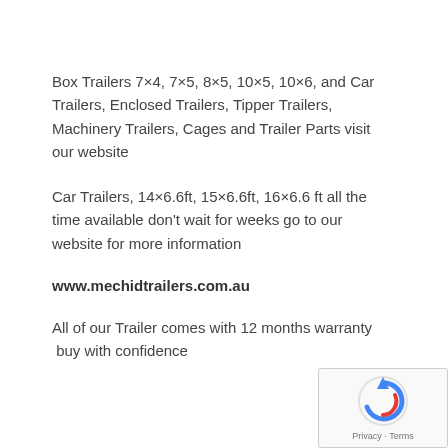Box Trailers 7×4, 7×5, 8×5, 10×5, 10×6, and Car Trailers, Enclosed Trailers, Tipper Trailers, Machinery Trailers, Cages and Trailer Parts visit our website
Car Trailers, 14×6.6ft, 15×6.6ft, 16×6.6 ft all the time available don't wait for weeks go to our website for more information
www.mechidtrailers.com.au
All of our Trailer comes with 12 months warranty buy with confidence